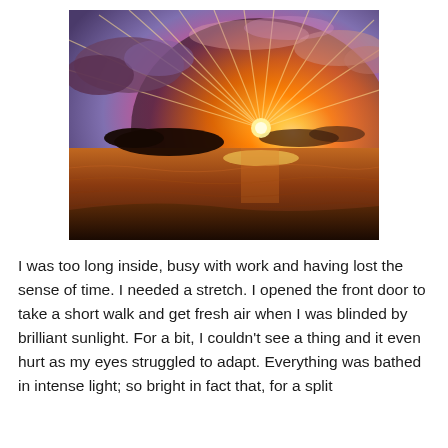[Figure (photo): A dramatic tropical beach sunset photograph. The sky is filled with brilliant orange, pink, and purple rays of light radiating outward from the setting sun on the horizon. Dark silhouetted islands and clouds appear in the middle distance, and gentle waves lap at a sandy beach in the foreground. The water reflects warm golden and orange hues.]
I was too long inside, busy with work and having lost the sense of time. I needed a stretch. I opened the front door to take a short walk and get fresh air when I was blinded by brilliant sunlight. For a bit, I couldn't see a thing and it even hurt as my eyes struggled to adapt. Everything was bathed in intense light; so bright in fact that, for a split